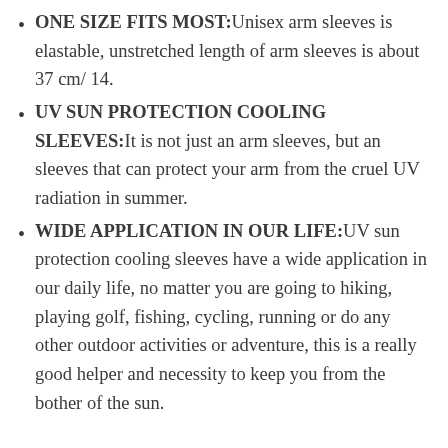ONE SIZE FITS MOST:Unisex arm sleeves is elastable, unstretched length of arm sleeves is about 37 cm/ 14.
UV SUN PROTECTION COOLING SLEEVES:It is not just an arm sleeves, but an sleeves that can protect your arm from the cruel UV radiation in summer.
WIDE APPLICATION IN OUR LIFE:UV sun protection cooling sleeves have a wide application in our daily life, no matter you are going to hiking, playing golf, fishing, cycling, running or do any other outdoor activities or adventure, this is a really good helper and necessity to keep you from the bother of the sun.